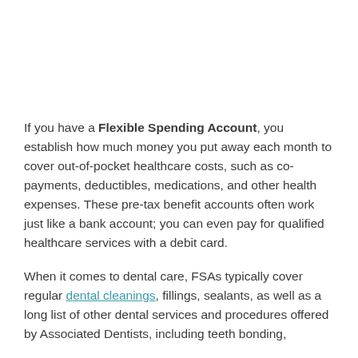If you have a Flexible Spending Account, you establish how much money you put away each month to cover out-of-pocket healthcare costs, such as co-payments, deductibles, medications, and other health expenses. These pre-tax benefit accounts often work just like a bank account; you can even pay for qualified healthcare services with a debit card.
When it comes to dental care, FSAs typically cover regular dental cleanings, fillings, sealants, as well as a long list of other dental services and procedures offered by Associated Dentists, including teeth bonding,